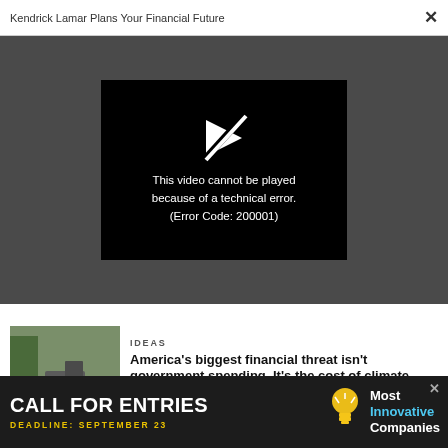Kendrick Lamar Plans Your Financial Future  ×
[Figure (screenshot): Video player showing error: 'This video cannot be played because of a technical error. (Error Code: 200001)' on black background with a play icon with a slash through it, set against a dark gray background.]
[Figure (photo): News article thumbnail showing flood damage to a road with construction equipment and debris.]
IDEAS
America's biggest financial threat isn't government spending. It's the cost of climate change
CO DESIGN
[Figure (infographic): Advertisement banner: CALL FOR ENTRIES, DEADLINE: SEPTEMBER 23, Most Innovative Companies, with light bulb icon.]